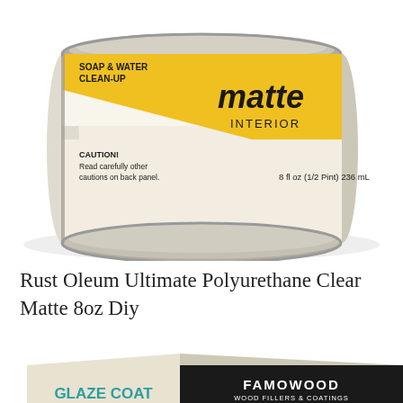[Figure (photo): Rust-Oleum Ultimate Polyurethane Clear Matte paint can, 8 fl oz (1/2 Pint) 236 mL, white and yellow label showing 'matte interior', 'SOAP & WATER CLEAN-UP', 'CAUTION: Read carefully other cautions on back panel', viewed from slightly above showing top and front of the can]
Rust Oleum Ultimate Polyurethane Clear Matte 8oz Diy
[Figure (photo): FAMOWOOD Glaze Coat product box, showing left side with 'GLAZE COAT HIGH GLOSS FINISH ACABADO DE ALTO BRILLO' text and photo of a bar interior, and front panel with black header 'FAMOWOOD WOOD FILLERS & COATINGS', teal section with 'GLAZE COAT' in large white letters, 'Great for bars, table tops, frames & many other projects', '70 COATS' seal, 'CRYSTAL CLEAR TRANSPARENTE', 'HIGH GLOSS FINISH' text. A red 'X CLOSE' button overlay appears on the left side.]